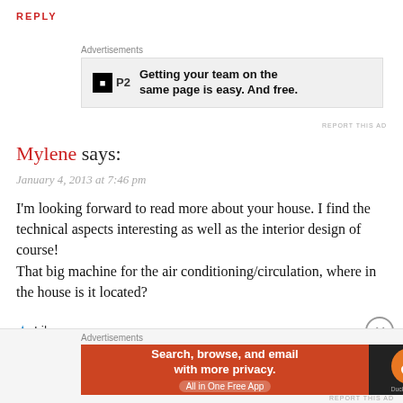REPLY
[Figure (screenshot): P2 advertisement banner: logo with black square 'P2', text 'Getting your team on the same page is easy. And free.']
Mylene says:
January 4, 2013 at 7:46 pm
I'm looking forward to read more about your house. I find the technical aspects interesting as well as the interior design of course!
That big machine for the air conditioning/circulation, where in the house is it located?
Like
[Figure (screenshot): DuckDuckGo advertisement banner: 'Search, browse, and email with more privacy. All in One Free App' with DuckDuckGo logo]